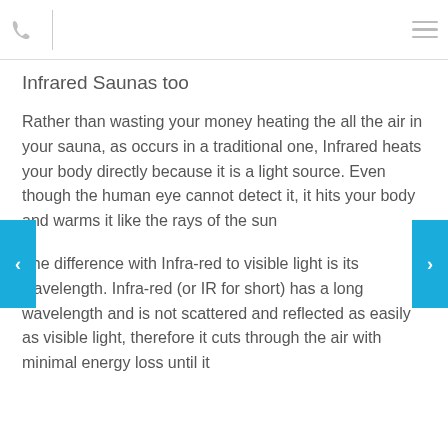Infrared Saunas too
Rather than wasting your money heating the all the air in your sauna, as occurs in a traditional one, Infrared heats your body directly because it is a light source. Even though the human eye cannot detect it, it hits your body and warms it like the rays of the sun
The difference with Infra-red to visible light is its wavelength. Infra-red (or IR for short) has a long wavelength and is not scattered and reflected as easily as visible light, therefore it cuts through the air with minimal energy loss until it